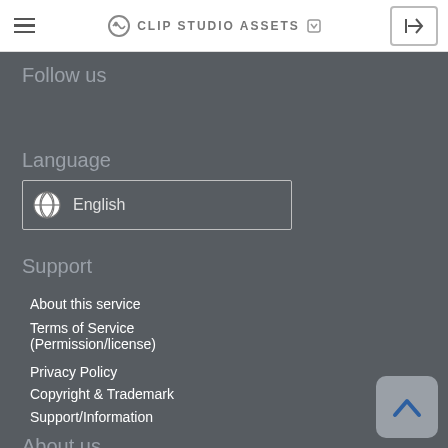CLIP STUDIO ASSETS
Follow us
Language
English
Support
About this service
Terms of Service (Permission/license)
Privacy Policy
Copyright & Trademark
Support/Information
About us
CELSYS Inc.